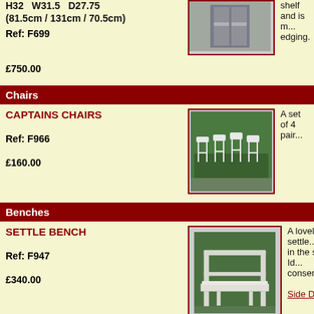H32   W31.5   D27.75
(81.5cm / 131cm / 70.5cm)
Ref: F699
£750.00
shelf and is m... edging.
Chairs
CAPTAINS CHAIRS
Ref: F966
£160.00
[Figure (photo): Four white painted captains chairs outdoors on grass]
A set of 4 pair...
Benches
SETTLE BENCH
Ref: F947
£340.00
[Figure (photo): White painted settle bench with heart cutouts in back, outdoors]
A lovely settle... in the seat.  Id... conservatorie...
Side Detail